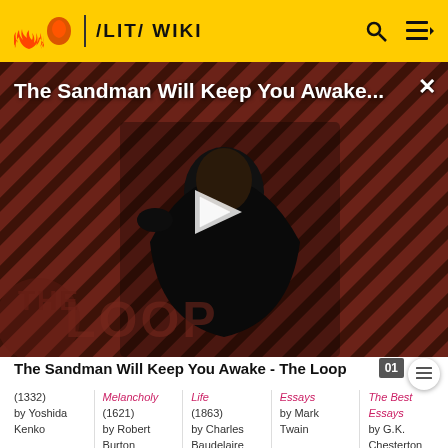/LIT/ WIKI
[Figure (screenshot): Video thumbnail for 'The Sandman Will Keep You Awake...' showing a dark-cloaked figure with a raven on a striped red/dark background, with a play button overlay and 'THE LOOP' logo watermark]
The Sandman Will Keep You Awake - The Loop
(1332) by Yoshida Kenko
Melancholy (1621) by Robert Burton
Life (1863) by Charles Baudelaire
Essays by Mark Twain
The Best Essays by G.K. Chesterton